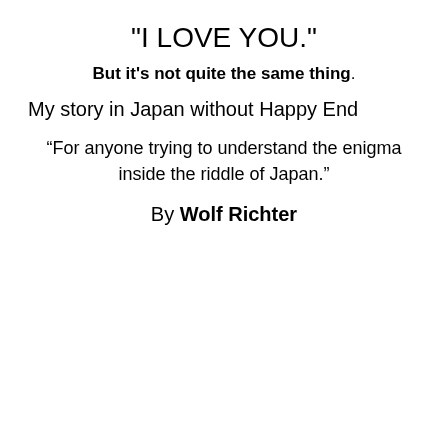"I LOVE YOU."
But it's not quite the same thing.
My story in Japan without Happy End
“For anyone trying to understand the enigma inside the riddle of Japan.”
By Wolf Richter